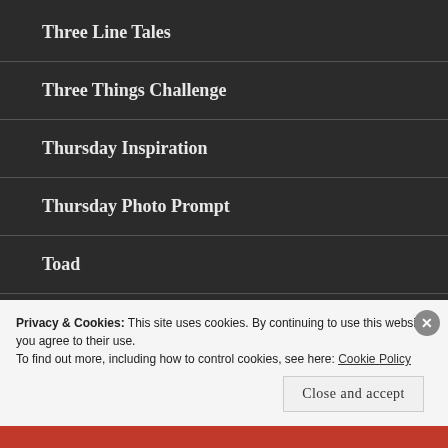Three Line Tales
Three Things Challenge
Thursday Inspiration
Thursday Photo Prompt
Toad
Privacy & Cookies: This site uses cookies. By continuing to use this website, you agree to their use.
To find out more, including how to control cookies, see here: Cookie Policy